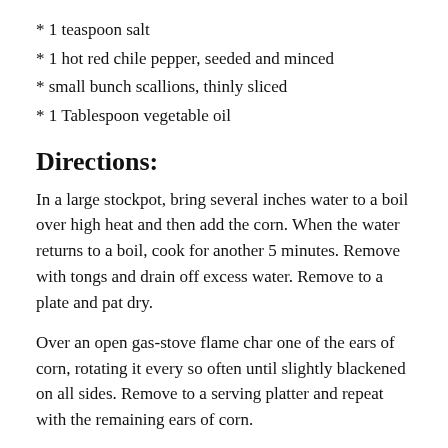* 1 teaspoon salt
* 1 hot red chile pepper, seeded and minced
* small bunch scallions, thinly sliced
* 1 Tablespoon vegetable oil
Directions:
In a large stockpot, bring several inches water to a boil over high heat and then add the corn. When the water returns to a boil, cook for another 5 minutes. Remove with tongs and drain off excess water. Remove to a plate and pat dry.
Over an open gas-stove flame char one of the ears of corn, rotating it every so often until slightly blackened on all sides. Remove to a serving platter and repeat with the remaining ears of corn.
Combine the fish sauce, water, palm sugar, salt, chile pepper,